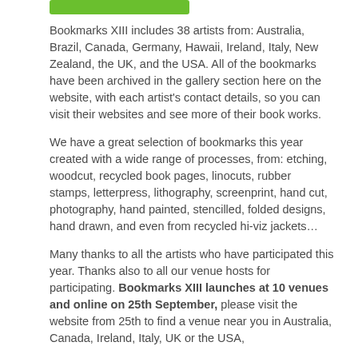[Figure (other): Green rounded rectangle bar at top, decorative element]
Bookmarks XIII includes 38 artists from: Australia, Brazil, Canada, Germany, Hawaii, Ireland, Italy, New Zealand, the UK, and the USA. All of the bookmarks have been archived in the gallery section here on the website, with each artist's contact details, so you can visit their websites and see more of their book works.
We have a great selection of bookmarks this year created with a wide range of processes, from: etching, woodcut, recycled book pages, linocuts, rubber stamps, letterpress, lithography, screenprint, hand cut, photography, hand painted, stencilled, folded designs, hand drawn, and even from recycled hi-viz jackets…
Many thanks to all the artists who have participated this year. Thanks also to all our venue hosts for participating. Bookmarks XIII launches at 10 venues and online on 25th September, please visit the website from 25th to find a venue near you in Australia, Canada, Ireland, Italy, UK or the USA, and to see all of the artist's book works.